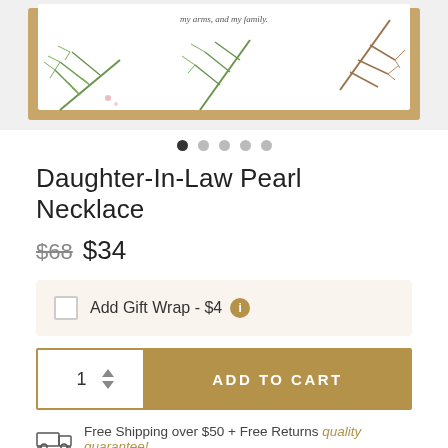[Figure (photo): Product photo of a gift box with pine/evergreen branch decoration on a white card inside a tan/kraft colored box]
[Figure (other): Image carousel navigation dots: 5 dots, first dot is filled/active (dark), remaining 4 are light gray]
Daughter-In-Law Pearl Necklace
$68 $34
Add Gift Wrap - $4
ADD TO CART
Free Shipping over $50 + Free Returns quality guarantee!